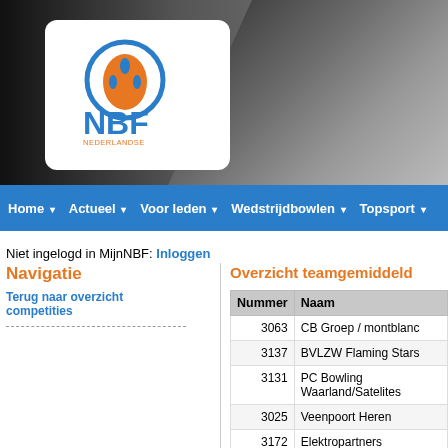[Figure (logo): NBF Nederlandse Bowling Federatie logo with bowling ball icon, white rounded box on dark header with bowling pins background]
Home | Actueel | Voor leden | Wedstrijdbowlen | Topsport
Niet ingelogd in MijnNBF: Inloggen
Navigatie
Terug naar overzicht competities
Overzicht teamgemidddeld
| Nummer | Naam |
| --- | --- |
| 3063 | CB Groep / montblanc |
| 3137 | BVLZW Flaming Stars |
| 3131 | PC Bowling Waarland/Satelites |
| 3025 | Veenpoort Heren |
| 3172 | Elektropartners |
| 3091 | Energie Soleil/Bowling |